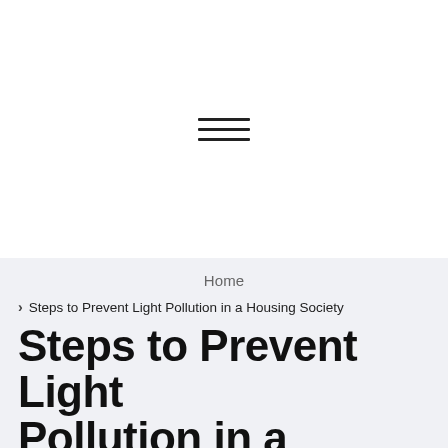[Figure (other): Hamburger menu icon with three horizontal lines]
Home
> Steps to Prevent Light Pollution in a Housing Society
Steps to Prevent Light Pollution in a Housing